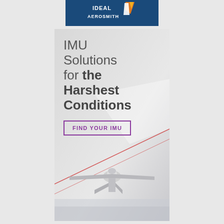[Figure (logo): Ideal Aerosmith company logo: blue background with orange and white rocket/arrow graphic and text 'IDEAL AEROSMITH']
IMU Solutions for the Harshest Conditions
FIND YOUR IMU
[Figure (illustration): Military UAV drone flying over snowy/icy terrain with red trajectory lines, light gray sky background]